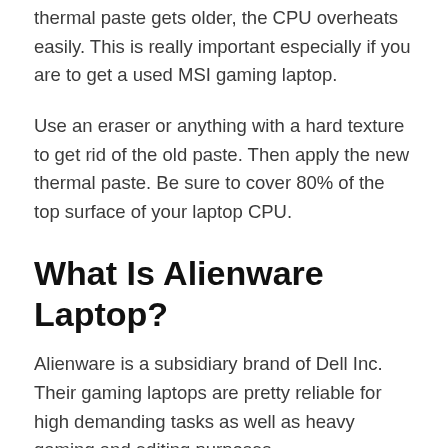thermal paste gets older, the CPU overheats easily. This is really important especially if you are to get a used MSI gaming laptop.
Use an eraser or anything with a hard texture to get rid of the old paste. Then apply the new thermal paste. Be sure to cover 80% of the top surface of your laptop CPU.
What Is Alienware Laptop?
Alienware is a subsidiary brand of Dell Inc. Their gaming laptops are pretty reliable for high demanding tasks as well as heavy gaming and editing purposes.